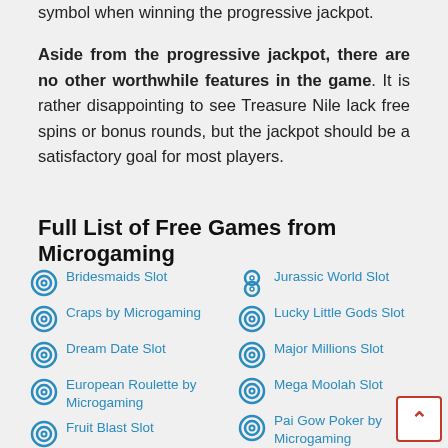symbol when winning the progressive jackpot.
Aside from the progressive jackpot, there are no other worthwhile features in the game. It is rather disappointing to see Treasure Nile lack free spins or bonus rounds, but the jackpot should be a satisfactory goal for most players.
Full List of Free Games from Microgaming
Bridesmaids Slot
Craps by Microgaming
Dream Date Slot
European Roulette by Microgaming
Fruit Blast Slot
Game of Thrones Slot
Girls with Guns Slot
Jurassic World Slot
Lucky Little Gods Slot
Major Millions Slot
Mega Moolah Slot
Pai Gow Poker by Microgaming
Pistoleras Slot
Playboy Gold Slot